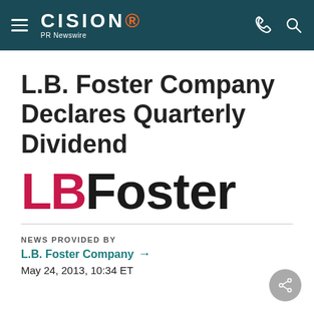CISION PR Newswire
L.B. Foster Company Declares Quarterly Dividend
[Figure (logo): LB Foster company logo — 'LB' in bold red, 'Foster' in bold black, large display text]
NEWS PROVIDED BY
L.B. Foster Company →
May 24, 2013, 10:34 ET